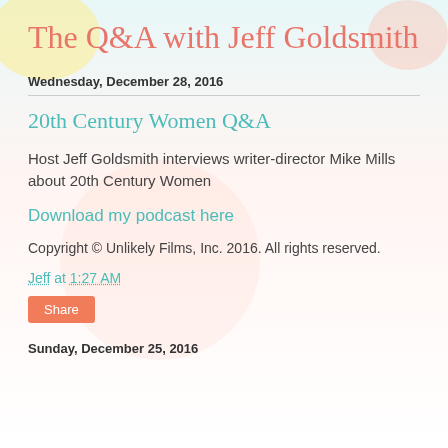The Q&A with Jeff Goldsmith
Wednesday, December 28, 2016
20th Century Women Q&A
Host Jeff Goldsmith interviews writer-director Mike Mills about 20th Century Women
Download my podcast here
Copyright © Unlikely Films, Inc. 2016. All rights reserved.
Jeff at 1:27 AM
Share
Sunday, December 25, 2016